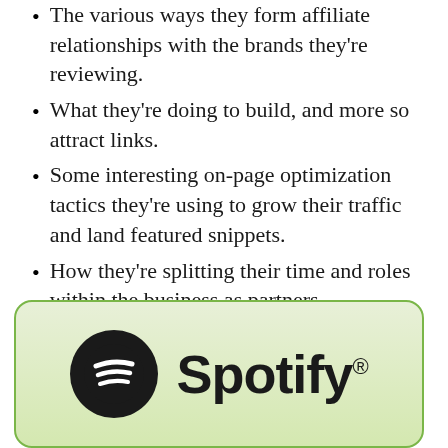The various ways they form affiliate relationships with the brands they're reviewing.
What they're doing to build, and more so attract links.
Some interesting on-page optimization tactics they're using to grow their traffic and land featured snippets.
How they're splitting their time and roles within the business as partners.
Alex and Healy's #1 tips for Side Hustle Nation.
[Figure (logo): Spotify logo with circular icon and Spotify wordmark with registered trademark symbol]